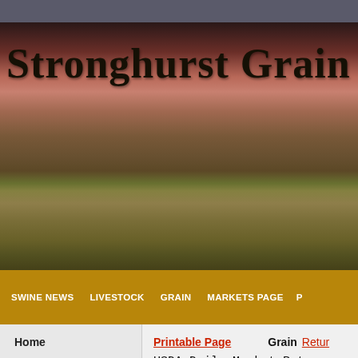[Figure (photo): Banner photo of grain fields at sunset with the text 'Stronghurst Grain & Mer' overlaid in large serif font]
SWINE NEWS    LIVESTOCK    GRAIN    MARKETS PAGE    P...
Home
Cash Bids
Calendar
Printable Page    Grain  Return
USDA Daily Market Rates